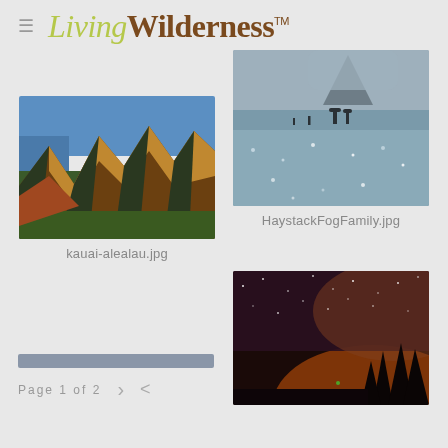LivingWilderness™
[Figure (photo): Aerial view of dramatic ridged mountain cliffs in Kauai, Hawaii with golden and green tones against a blue sky and ocean]
kauai-alealau.jpg
[Figure (photo): Foggy beach scene with two people silhouetted near Haystack Rock, reflective wet sand in the foreground]
HaystackFogFamily.jpg
[Figure (photo): Night sky scene with stars and orange/purple glow over silhouetted trees on a dark beach]
Page 1 of 2